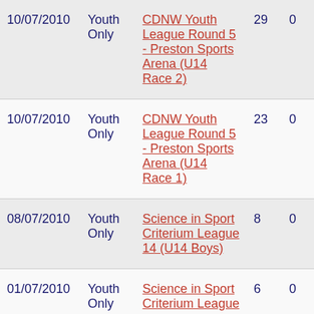| Date | Category | Event | Col1 | Col2 |
| --- | --- | --- | --- | --- |
| 10/07/2010 | Youth Only | CDNW Youth League Round 5 - Preston Sports Arena (U14 Race 2) | 29 | 0 |
| 10/07/2010 | Youth Only | CDNW Youth League Round 5 - Preston Sports Arena (U14 Race 1) | 23 | 0 |
| 08/07/2010 | Youth Only | Science in Sport Criterium League 14 (U14 Boys) | 8 | 0 |
| 01/07/2010 | Youth Only | Science in Sport Criterium League | 6 | 0 |